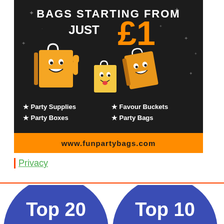[Figure (illustration): Advertisement for funpartybags.com showing cartoon party bag characters on dark background. Text reads 'BAGS STARTING FROM JUST £1' with bullet points: Party Supplies, Party Boxes, Favour Buckets, Party Bags. URL bar: www.funpartybags.com]
Privacy
[Figure (illustration): Two blue circular badge images on white background. Left badge reads 'Top 20 Blog 2020', right badge reads 'Top 10 Blog 2020'.]